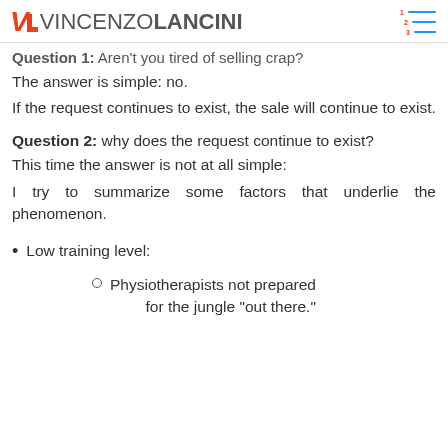VINCENZO LANCINI
Question 1: Aren't you tired of selling crap?
The answer is simple: no.
If the request continues to exist, the sale will continue to exist.
Question 2: why does the request continue to exist?
This time the answer is not at all simple:
I try to summarize some factors that underlie the phenomenon.
Low training level:
Physiotherapists not prepared for the jungle “out there.”